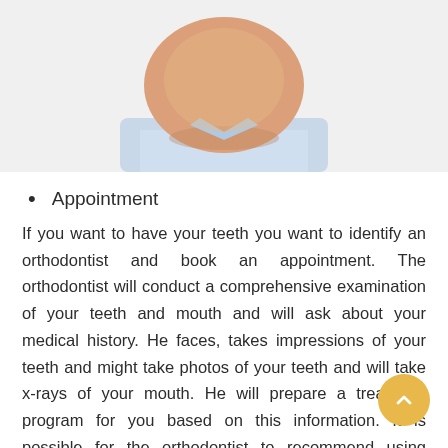[Figure (photo): Cropped photo of a person's lower face/chin and neck wearing a light purple/blue shirt, shown from chin down, white background]
Appointment
If you want to have your teeth you want to identify an orthodontist and book an appointment. The orthodontist will conduct a comprehensive examination of your teeth and mouth and will ask about your medical history. He faces, takes impressions of your teeth and might take photos of your teeth and will take x-rays of your mouth. He will prepare a treatment program for you based on this information. It is possible for the orthodontist to recommend using retainers for cases that are minor and surgery may be required for cases of bites that are misaligned.